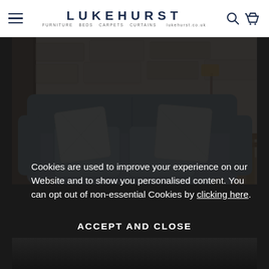LUKEHURST — FURNITURE BEDS CARPETS CURTAINS | lukehurst.co.uk
[Figure (photo): A grey upholstered sofa with decorative cushions in a rustic room setting with stone wall and wooden furniture]
Cookies are used to improve your experience on our Website and to show you personalised content. You can opt out of non-essential Cookies by clicking here.
ACCEPT AND CLOSE